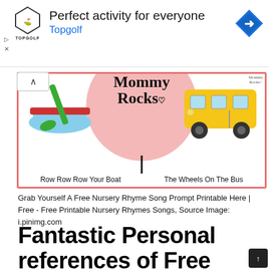[Figure (advertisement): Topgolf ad banner with logo, text 'Perfect activity for everyone', 'Topgolf', and a blue arrow navigation icon on the right.]
[Figure (illustration): Nursery rhyme printable image showing a boat with paddle on the left, 'Mommy Rocks' text on pink circle background in center, a yellow bus on the right. Labels: 'Row Row Row Your Boat' and 'The Wheels On The Bus'. Red border frame.]
Grab Yourself A Free Nursery Rhyme Song Prompt Printable Here | Free - Free Printable Nursery Rhymes Songs, Source Image: i.pinimg.com
Fantastic Personal references of Free Printable Nursery